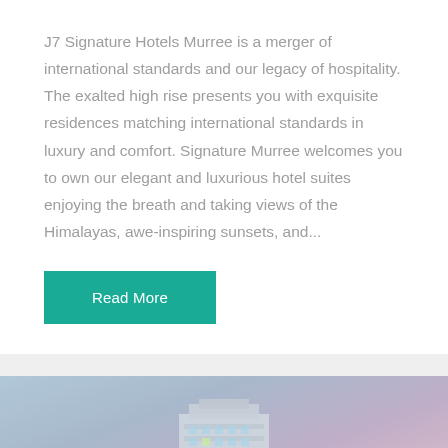J7 Signature Hotels Murree is a merger of international standards and our legacy of hospitality. The exalted high rise presents you with exquisite residences matching international standards in luxury and comfort. Signature Murree welcomes you to own our elegant and luxurious hotel suites enjoying the breath and taking views of the Himalayas, awe-inspiring sunsets, and...
Read More
[Figure (photo): Partial view of a hotel building (J7 Signature Hotels Murree) against a dusk/twilight sky with blue and purple tones. A scroll-to-top button with an upward chevron is visible in the bottom-right corner.]